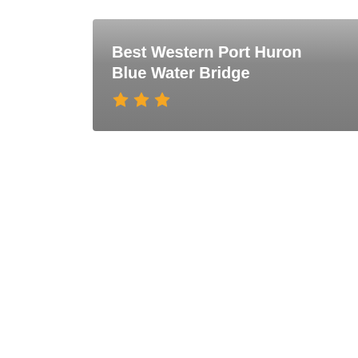[Figure (other): Hotel banner image with gray gradient background showing the hotel name 'Best Western Port Huron Blue Water Bridge' in bold white text with three gold star rating icons below.]